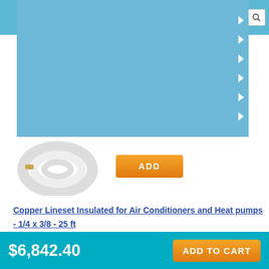Navigation bar with cart (0) and search
[Figure (screenshot): Blue dropdown menu overlay with right-pointing arrows]
[Figure (photo): White insulated copper lineset coil, partially visible, with orange ADD button]
Copper Lineset Insulated for Air Conditioners and Heat pumps - 1/4 x 3/8 - 25 ft
[Figure (photo): White insulated copper lineset coil product image]
$236.00
ADD
$6,842.40  ADD TO CART